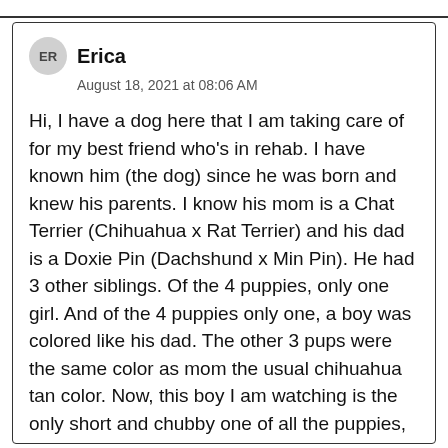ER  Erica
August 18, 2021 at 08:06 AM
Hi, I have a dog here that I am taking care of for my best friend who’s in rehab. I have known him (the dog) since he was born and knew his parents. I know his mom is a Chat Terrier (Chihuahua x Rat Terrier) and his dad is a Doxie Pin (Dachshund x Min Pin). He had 3 other siblings. Of the 4 puppies, only one girl. And of the 4 puppies only one, a boy was colored like his dad. The other 3 pups were the same color as mom the usual chihuahua tan color. Now, this boy I am watching is the only short and chubby one of all the puppies, hence his